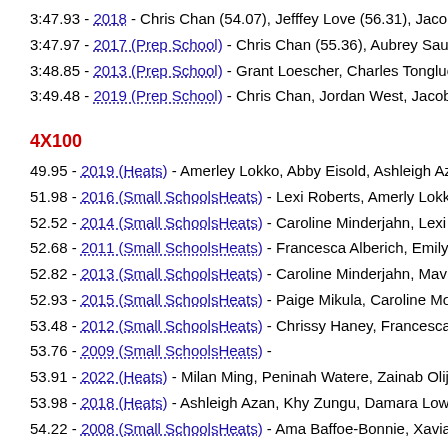3:47.93 - 2018 - Chris Chan (54.07), Jefffey Love (56.31), Jacob Hoopes (1:…
3:47.97 - 2017 (Prep School) - Chris Chan (55.36), Aubrey Saunders (57.49)
3:48.85 - 2013 (Prep School) - Grant Loescher, Charles Tongluo, Jermaine D…
3:49.48 - 2019 (Prep School) - Chris Chan, Jordan West, Jacob Hoopes, Jeff…
4X100
49.95 - 2019 (Heats) - Amerley Lokko, Abby Eisold, Ashleigh Azan, Sanaa He…
51.98 - 2016 (Small SchoolsHeats) - Lexi Roberts, Amerly Lokko, Caroline M…
52.52 - 2014 (Small SchoolsHeats) - Caroline Minderjahn, Lexi Roberts, Alex…
52.68 - 2011 (Small SchoolsHeats) - Francesca Alberich, Emily Mapilli, Nadia…
52.82 - 2013 (Small SchoolsHeats) - Caroline Minderjahn, Mavi , Demi Strau…
52.93 - 2015 (Small SchoolsHeats) - Paige Mikula, Caroline Monderjahn, Ale…
53.48 - 2012 (Small SchoolsHeats) - Chrissy Haney, Francesca Aldrich, Alexa…
53.76 - 2009 (Small SchoolsHeats) -
53.91 - 2022 (Heats) - Milan Ming, Peninah Watere, Zainab Olijide, Jasmine …
53.98 - 2018 (Heats) - Ashleigh Azan, Khy Zungu, Damara Lowery, Amerley L…
54.22 - 2008 (Small SchoolsHeats) - Ama Baffoe-Bonnie, Xavia Bethea, Nata…
54.39 - 2010 (Small SchoolsHeats) -
4X400